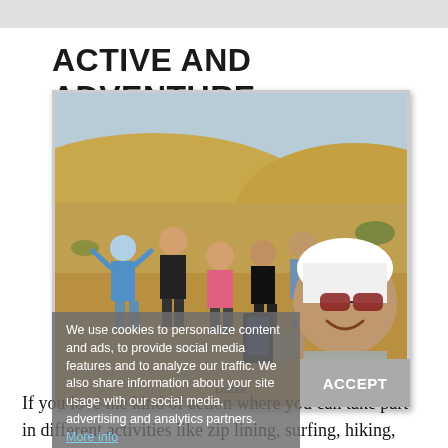ACTIVE AND ADVENTURE
[Figure (photo): Group of tourists taking a selfie in the desert (sand dunes, clear sky). A man in a white headscarf and sunglasses takes the selfie in the foreground, with a group of tourists behind him.]
Dubai
We use cookies to personalize content and ads, to provide social media features and to analyze our traffic. We also share information about your site usage with our social media, advertising and analytics partners. More info
If you love the kind of action where you can take part in different activities like zip lining, surfing, hiking, rock climbing, boating, skiing, or other adventures, I'd love to help plan your vacation